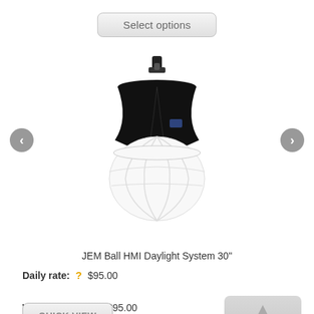Select options
[Figure (photo): JEM Ball HMI Daylight System 30-inch lighting equipment — round white diffusion ball with black conical top mount and handle]
JEM Ball HMI Daylight System 30"
Daily rate: ? $95.00
Weekend rate: ? $95.00
Weekly rate: ? $285.00
QUICK VIEW
Up